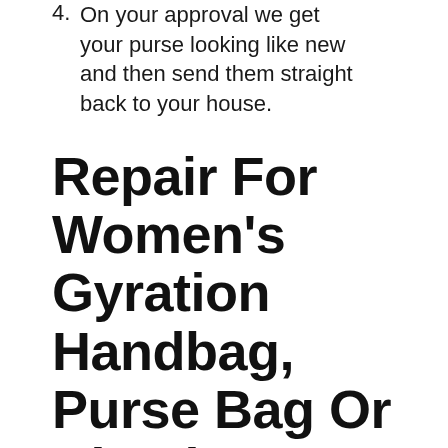4. On your approval we get your purse looking like new and then send them straight back to your house.
Repair For Women's Gyration Handbag, Purse Bag Or Clutch
Gyration makes top quality and extremely popular shoes for women including Gyration heels, flats, work shoes and everything in between. Favorite Fix offers service for all of them. Did your favorite Gyrations get damaged? Scuffed? Need a new clasp or